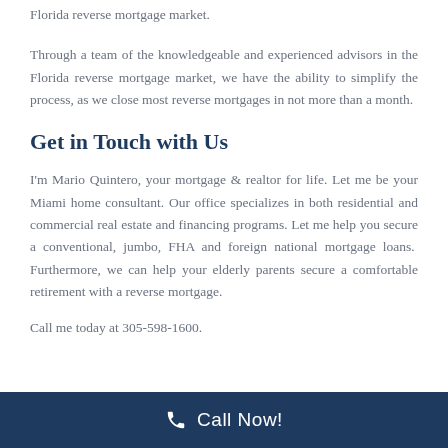Florida reverse mortgage market.
Through a team of the knowledgeable and experienced advisors in the Florida reverse mortgage market, we have the ability to simplify the process, as we close most reverse mortgages in not more than a month.
Get in Touch with Us
I'm Mario Quintero, your mortgage & realtor for life. Let me be your Miami home consultant. Our office specializes in both residential and commercial real estate and financing programs. Let me help you secure a conventional, jumbo, FHA and foreign national mortgage loans.  Furthermore, we can help your elderly parents secure a comfortable retirement with a reverse mortgage.
Call me today at 305-598-1600.
Call Now!